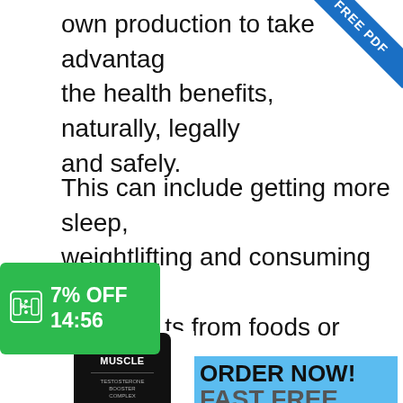own production to take advantage of the health benefits, naturally, legally and safely.
[Figure (infographic): Blue corner ribbon banner with white text reading FREE PDF]
This can include getting more sleep, weightlifting and consuming the right nutrients from foods or supplements.
[Figure (infographic): Green coupon badge showing 7% OFF and countdown timer 14:56 with coupon icon]
[Figure (infographic): Military Muscle supplement product ad banner with blue background, product bottle, ORDER NOW! FAST FREE SHIPPING text, SECURE PAYMENTS - DISCREET GLOBAL SHIPPING, and star badge]